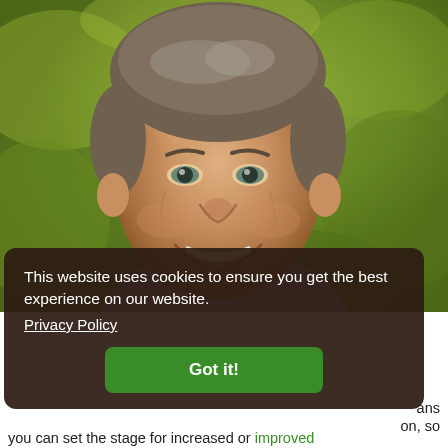[Figure (photo): Close-up photo of a smiling middle-aged man with short grey-brown hair, wearing a lavender/grey shirt, photographed outdoors against a green blurred background (foliage).]
This website uses cookies to ensure you get the best experience on our website.
Privacy Policy
Got it!
ans
on, so
you can set the stage for increased or improved